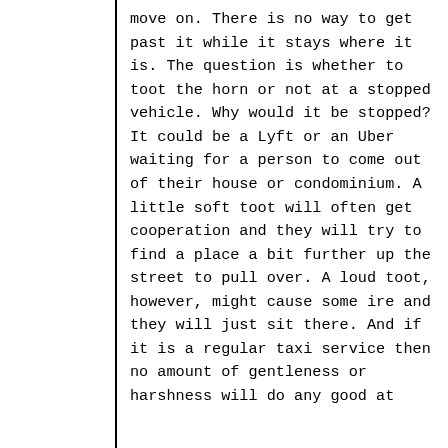move on. There is no way to get past it while it stays where it is. The question is whether to toot the horn or not at a stopped vehicle. Why would it be stopped? It could be a Lyft or an Uber waiting for a person to come out of their house or condominium. A little soft toot will often get cooperation and they will try to find a place a bit further up the street to pull over. A loud toot, however, might cause some ire and they will just sit there. And if it is a regular taxi service then no amount of gentleness or harshness will do any good at